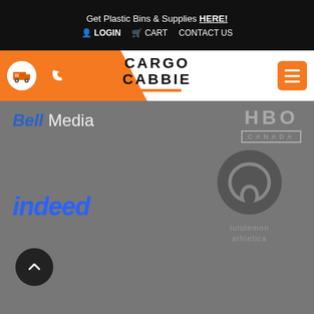Get Plastic Bins & Supplies HERE! LOGIN  CART  CONTACT US
[Figure (logo): Cargo Cabbie logo with orange accent bar and navigation icons]
[Figure (logo): Bell Media logo in blue italic text]
[Figure (logo): HBO Canada logo in gray]
[Figure (logo): Indeed logo in blue italic text]
[Figure (logo): Lululemon Athletica logo with circular symbol and text]
[Figure (other): Scroll to top button - dark circle with upward chevron]